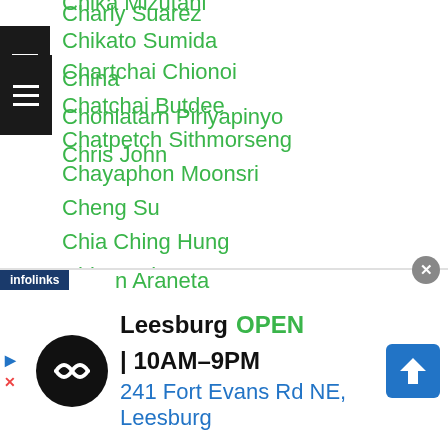Charly Suarez
Chartchai Chionoi
Chatchai Butdee
Chatpetch Sithmorseng
Chayaphon Moonsri
Cheng Su
Chia Ching Hung
Chiang Yi Hung
Chie Higano
Chiharu Takasuka
Chika Mizutani
Chikato Sumida
China
Chonlatarn Piriyapinyo
Chris John
...n Araneta
[Figure (other): Advertisement banner: Leesburg OPEN 10AM-9PM, 241 Fort Evans Rd NE, Leesburg with infolinks label and close button]